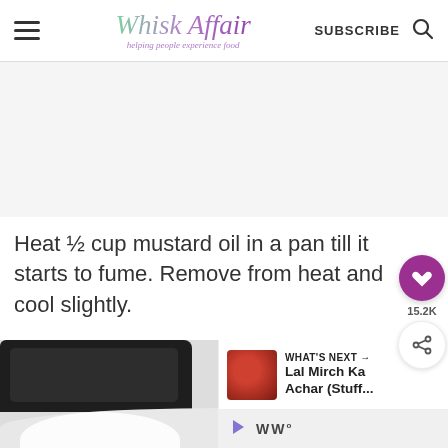Whisk Affair — Helping people experience food | SUBSCRIBE
[Figure (photo): Gray advertisement placeholder area]
Heat ½ cup mustard oil in a pan till it starts to fume. Remove from heat and cool slightly.
[Figure (photo): Food preparation photo at bottom of page showing a dark pan and a bowl]
WHAT'S NEXT → Lal Mirch Ka Achar (Stuff...